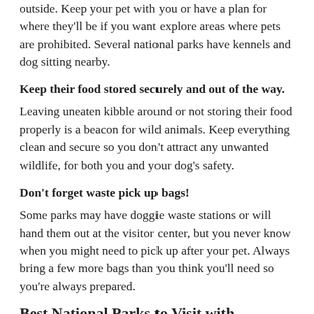serious injury of ki nd a pet, even when le ash is tied hots outside. Keep your pet with you or have a plan for where they'll be if you want explore areas where pets are prohibited. Several national parks have kennels and dog sitting nearby.
Keep their food stored securely and out of the way.
Leaving uneaten kibble around or not storing their food properly is a beacon for wild animals. Keep everything clean and secure so you don't attract any unwanted wildlife, for both you and your dog's safety.
Don't forget waste pick up bags!
Some parks may have doggie waste stations or will hand them out at the visitor center, but you never know when you might need to pick up after your pet. Always bring a few more bags than you think you'll need so you're always prepared.
Best National Parks to Visit with